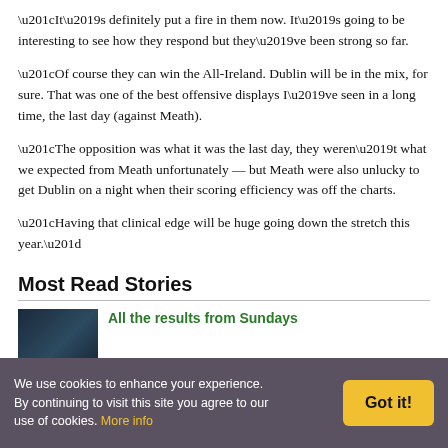“It’s definitely put a fire in them now. It’s going to be interesting to see how they respond but they’ve been strong so far.
“Of course they can win the All-Ireland. Dublin will be in the mix, for sure. That was one of the best offensive displays I’ve seen in a long time, the last day (against Meath).
“The opposition was what it was the last day, they weren’t what we expected from Meath unfortunately — but Meath were also unlucky to get Dublin on a night when their scoring efficiency was off the charts.
“Having that clinical edge will be huge going down the stretch this year.”
Most Read Stories
[Figure (photo): Thumbnail image for a news story, dark background.]
All the results from Sundays
We use cookies to enhance your experience. By continuing to visit this site you agree to our use of cookies. More info